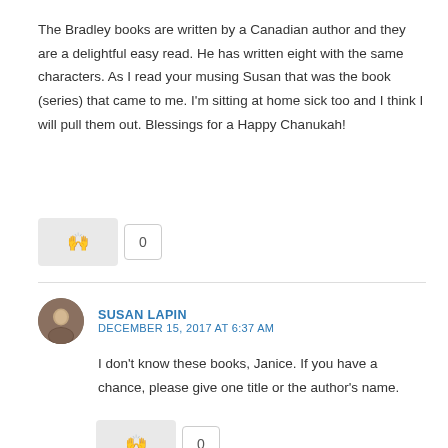The Bradley books are written by a Canadian author and they are a delightful easy read. He has written eight with the same characters. As I read your musing Susan that was the book (series) that came to me. I'm sitting at home sick too and I think I will pull them out. Blessings for a Happy Chanukah!
[Figure (other): Reaction button with raised hands emoji and count box showing 0]
SUSAN LAPIN
DECEMBER 15, 2017 AT 6:37 AM
I don't know these books, Janice. If you have a chance, please give one title or the author's name.
[Figure (other): Reaction button with raised hands emoji and count box showing 0 (partially visible)]